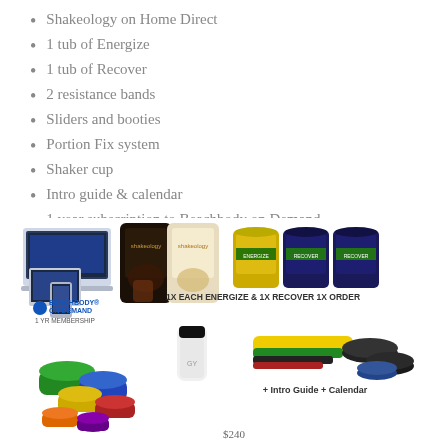Shakeology on Home Direct
1 tub of Energize
1 tub of Recover
2 resistance bands
Sliders and booties
Portion Fix system
Shaker cup
Intro guide & calendar
1 year subscription to Beachbody on Demand
[Figure (photo): Product photo showing: Beachbody on Demand on devices (laptop, tablet, phone), two Shakeology bags, three supplement tubs (Energize and Recover), a shaker cup, portion fix containers, resistance bands, and sliders/booties. Labels read: 1X EACH ENERGIZE & 1X RECOVER 1X ORDER, 1 YR MEMBERSHIP, + INTRO GUIDE + CALENDAR, $240]
$240